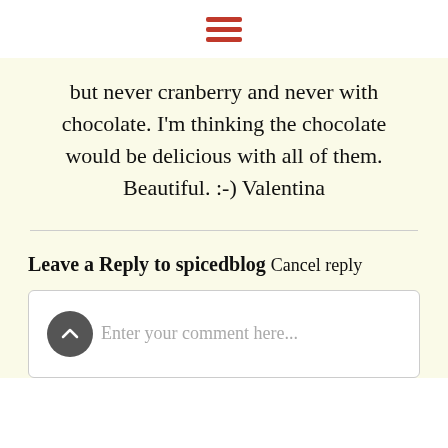hamburger menu icon
but never cranberry and never with chocolate. I'm thinking the chocolate would be delicious with all of them. Beautiful. :-) Valentina
Leave a Reply to spicedblog Cancel reply
Enter your comment here...